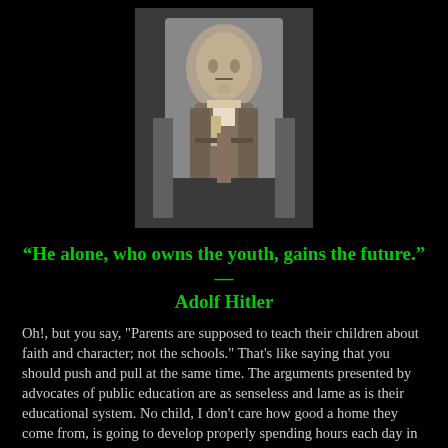[Figure (photo): Black and white portrait photograph of Adolf Hitler in a suit]
“He alone, who owns the youth, gains the future.” — Adolf Hitler
Oh!, but you say, "Parents are supposed to teach their children about faith and character; not the schools." That's like saying that you should push and pull at the same time. The arguments presented by advocates of public education are as senseless and lame as is their educational system. No child, I don't care how good a home they come from, is going to develop properly spending hours each day in a heathen learning environment! You can't teach a child at home that God created mankind; and then expect that same